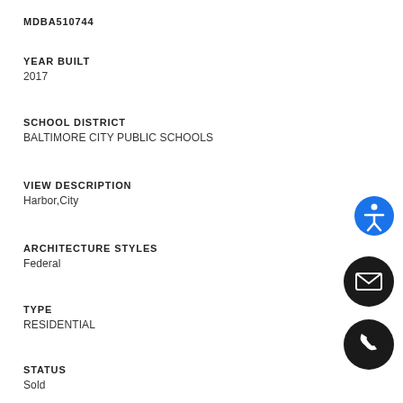MDBA510744
YEAR BUILT
2017
SCHOOL DISTRICT
BALTIMORE CITY PUBLIC SCHOOLS
VIEW DESCRIPTION
Harbor,City
ARCHITECTURE STYLES
Federal
TYPE
RESIDENTIAL
STATUS
Sold